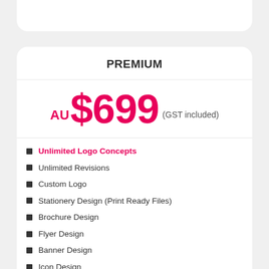PREMIUM
AU$699 (GST included)
Unlimited Logo Concepts
Unlimited Revisions
Custom Logo
Stationery Design (Print Ready Files)
Brochure Design
Flyer Design
Banner Design
Icon Design
MS Word Letter Design